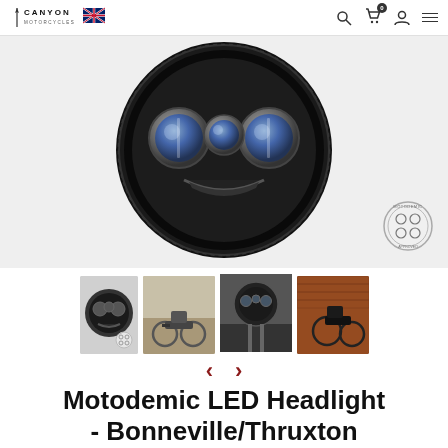Canyon Motorcycles
[Figure (photo): Close-up of a round black Motodemic LED headlight unit showing three circular lens elements in a dark housing]
[Figure (photo): Thumbnail 1: Front view of the LED headlight unit isolated on white]
[Figure (photo): Thumbnail 2: Vintage-style motorcycle with the LED headlight installed, parked in a garden]
[Figure (photo): Thumbnail 3: Close-up front view of motorcycle with LED headlight mounted on forks]
[Figure (photo): Thumbnail 4: Dark motorcycle with LED headlight near a brick wall]
Motodemic LED Headlight - Bonneville/Thruxton